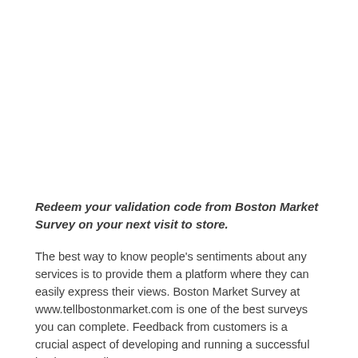Redeem your validation code from Boston Market Survey on your next visit to store.
The best way to know people's sentiments about any services is to provide them a platform where they can easily express their views. Boston Market Survey at www.tellbostonmarket.com is one of the best surveys you can complete. Feedback from customers is a crucial aspect of developing and running a successful business. It allows